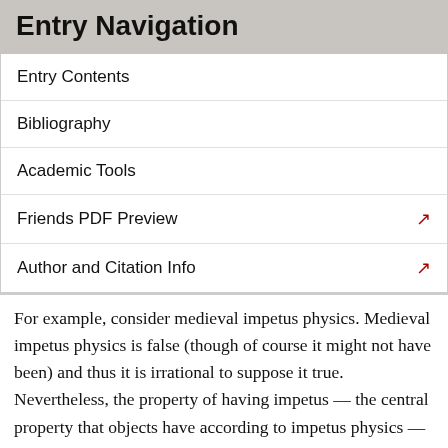Entry Navigation
Entry Contents
Bibliography
Academic Tools
Friends PDF Preview
Author and Citation Info
For example, consider medieval impetus physics. Medieval impetus physics is false (though of course it might not have been) and thus it is irrational to suppose it true. Nevertheless, the property of having impetus — the central property that objects have according to impetus physics — is a physical property, and a counterfactual world completely described by impetus physics would be a world in which physicalism is true. But it is hard to see how any of this could be right if physicalism were defined by reference to the physics that we have now or by the physics that happens to be true in our world. (For